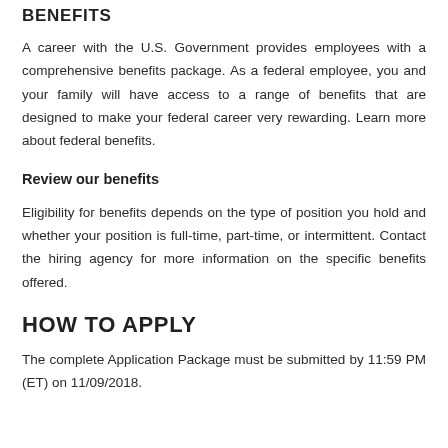BENEFITS
A career with the U.S. Government provides employees with a comprehensive benefits package. As a federal employee, you and your family will have access to a range of benefits that are designed to make your federal career very rewarding. Learn more about federal benefits.
Review our benefits
Eligibility for benefits depends on the type of position you hold and whether your position is full-time, part-time, or intermittent. Contact the hiring agency for more information on the specific benefits offered.
HOW TO APPLY
The complete Application Package must be submitted by 11:59 PM (ET) on 11/09/2018.